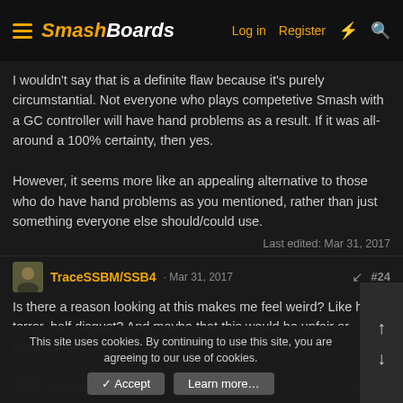SmashBoards — Log in  Register
I wouldn't say that is a definite flaw because it's purely circumstantial. Not everyone who plays competetive Smash with a GC controller will have hand problems as a result. If it was all-around a 100% certainty, then yes.

However, it seems more like an appealing alternative to those who do have hand problems as you mentioned, rather than just something everyone else should/could use.
Last edited: Mar 31, 2017
TraceSSBM/SSB4 · Mar 31, 2017   #24
Is there a reason looking at this makes me feel weird? Like half terror, half disgust? And maybe that this would be unfair or something?
RonNewcomb · Mar 31, 2017   #25
This site uses cookies. By continuing to use this site, you are agreeing to our use of cookies.